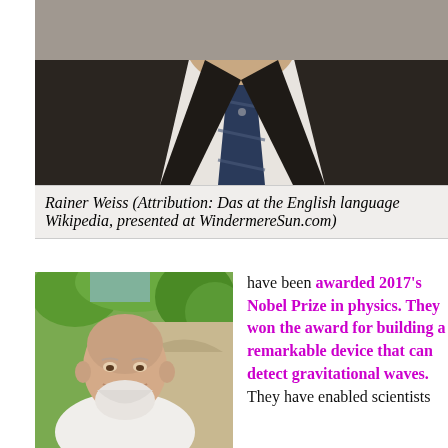[Figure (photo): Close-up photo of Rainer Weiss from the chest up, wearing a dark suit jacket and a dark striped tie with white shirt, photographed outdoors]
Rainer Weiss (Attribution: Das at the English language Wikipedia, presented at WindermereSun.com)
[Figure (photo): Photo of a bald older man with a white beard smiling, wearing a white shirt, photographed outdoors with green trees in background]
have been awarded 2017's Nobel Prize in physics. They won the award for building a remarkable device that can detect gravitational waves. They have enabled scientists